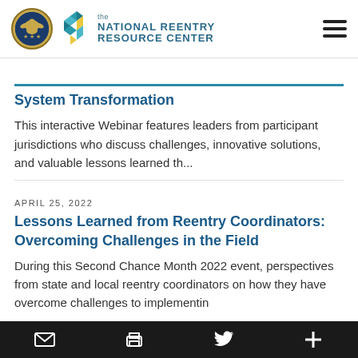the NATIONAL REENTRY RESOURCE CENTER
System Transformation
This interactive Webinar features leaders from participant jurisdictions who discuss challenges, innovative solutions, and valuable lessons learned th...
APRIL 25, 2022
Lessons Learned from Reentry Coordinators: Overcoming Challenges in the Field
During this Second Chance Month 2022 event, perspectives from state and local reentry coordinators on how they have overcome challenges to implementin